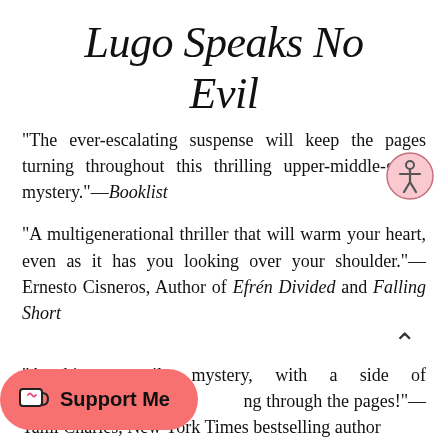Lugo Speaks No Evil
“The ever-escalating suspense will keep the pages turning throughout this thrilling upper-middle-grade mystery.”—Booklist
“A multigenerational thriller that will warm your heart, even as it has you looking over your shoulder.”—Ernesto Cisneros, Author of Efrén Divided and Falling Short
“A bite-your-nails mystery, with a side of humor, racing through the pages!”—Tami Charles, New York Times bestselling author